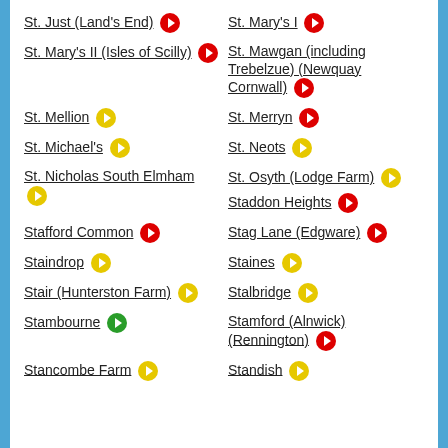St. Just (Land's End) [red icon]
St. Mary's I [red icon]
St. Mary's II (Isles of Scilly) [red icon]
St. Mawgan (including Trebelzue) (Newquay Cornwall) [red icon]
St. Mellion [yellow icon]
St. Merryn [red icon]
St. Michael's [yellow icon]
St. Neots [yellow icon]
St. Nicholas South Elmham [yellow icon]
St. Osyth (Lodge Farm) [yellow icon]
Staddon Heights [red icon]
Stafford Common [red icon]
Stag Lane (Edgware) [red icon]
Staindrop [yellow icon]
Staines [yellow icon]
Stair (Hunterston Farm) [yellow icon]
Stalbridge [yellow icon]
Stambourne [green icon]
Stamford (Alnwick) (Rennington) [red icon]
Stancombe Farm [yellow icon]
Standish [yellow icon]